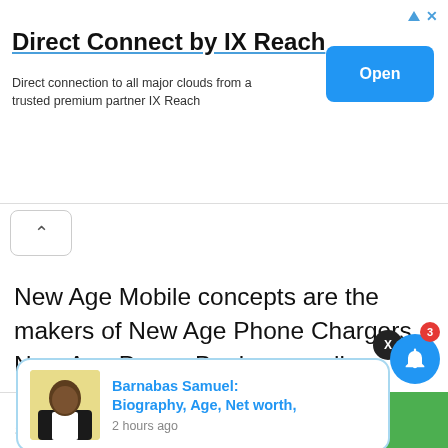[Figure (screenshot): Advertisement banner for 'Direct Connect by IX Reach' with an Open button]
Direct Connect by IX Reach
Direct connection to all major clouds from a trusted premium partner IX Reach
New Age Mobile concepts are the makers of New Age Phone Chargers, New Age Power Banks as well as other Phone Accessories.
[Figure (screenshot): Notification popup card: Barnabas Samuel: Biography, Age, Net worth, 2 hours ago]
Barnabas Samuel: Biography, Age, Net worth,
2 hours ago
40 Shares | Facebook | Twitter | WhatsApp | Messenger | Green button